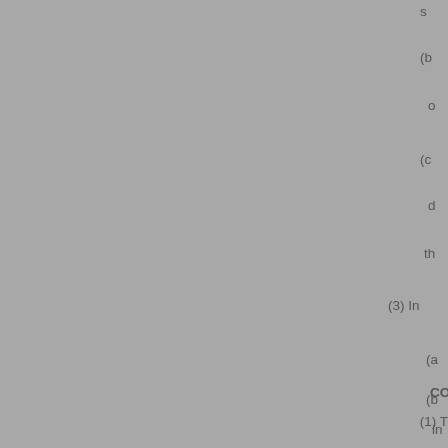s
(b
o
(c
d
th
(3) In
(a
(b
in
a
infor
and
[Note: a
COLL 5.2.10D
(1) T
[Figure (other): Box with letter C inside]